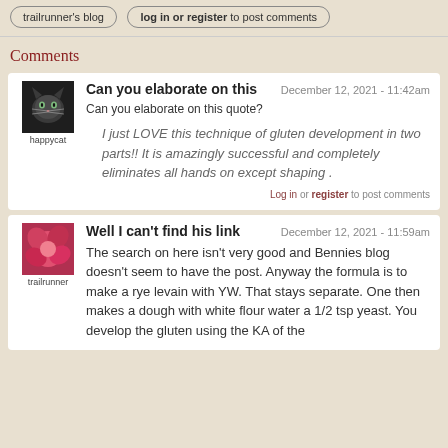trailrunner's blog | log in or register to post comments
Comments
Can you elaborate on this — December 12, 2021 - 11:42am
Can you elaborate on this quote?
I just LOVE this technique of gluten development in two parts!! It is amazingly successful and completely eliminates all hands on except shaping .
Log in or register to post comments
Well I can't find his link — December 12, 2021 - 11:59am
The search on here isn't very good and Bennies blog doesn't seem to have the post. Anyway the formula is to make a rye levain with YW. That stays separate. One then makes a dough with white flour water a 1/2 tsp yeast. You develop the gluten using the KA of the